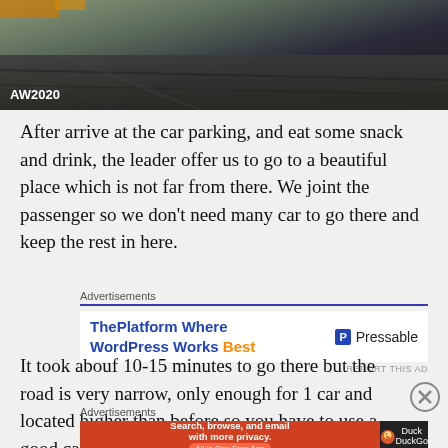[Figure (photo): Overhead or ground-level photo of a car parking area with gravel/dirt ground, showing part of a building or structure. Watermark 'AW2020' visible in lower left.]
After arrive at the car parking, and eat some snack and drink, the leader offer us to go to a beautiful place which is not far from there. We joint the passenger so we don't need many car to go there and keep the rest in here.
[Figure (other): Advertisement banner: 'ThePlatform Where WordPress Works Best' with Pressable logo on the right.]
It took abouf 10-15 minutes to go there but the road is very narrow, only enough for 1 car and located higher than before so you have to use a good car and skillful driver.
[Figure (other): Advertisement banner for DuckDuckGo: 'Search, browse, and email with more privacy. All in One Free App' with DuckDuckGo logo on dark background.]